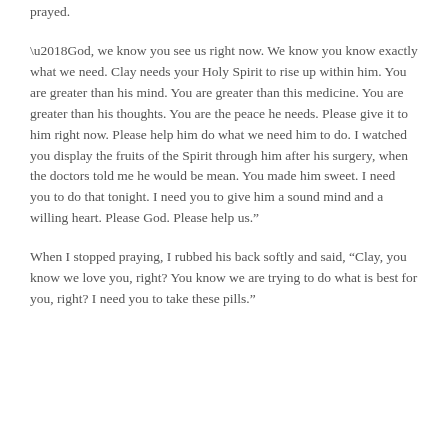prayed.
‘God, we know you see us right now. We know you know exactly what we need. Clay needs your Holy Spirit to rise up within him. You are greater than his mind. You are greater than this medicine. You are greater than his thoughts. You are the peace he needs. Please give it to him right now. Please help him do what we need him to do. I watched you display the fruits of the Spirit through him after his surgery, when the doctors told me he would be mean. You made him sweet. I need you to do that tonight. I need you to give him a sound mind and a willing heart. Please God. Please help us.”
When I stopped praying, I rubbed his back softly and said, “Clay, you know we love you, right? You know we are trying to do what is best for you, right? I need you to take these pills.”